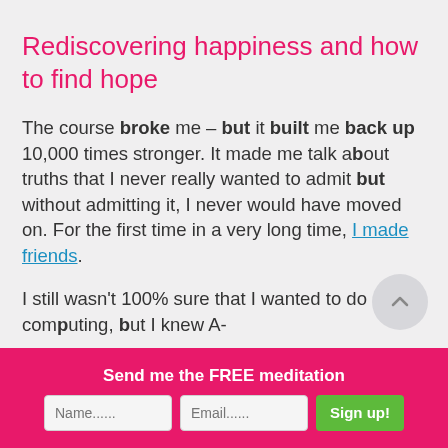Rediscovering happiness and how to find hope
The course broke me – but it built me back up 10,000 times stronger. It made me talk about truths that I never really wanted to admit but without admitting it, I never would have moved on. For the first time in a very long time, I made friends.
I still wasn't 100% sure that I wanted to do computing, but I knew A-
Send me the FREE meditation
Name......
Email......
Sign up!